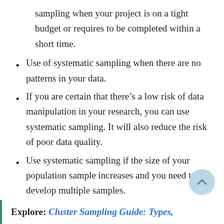sampling when your project is on a tight budget or requires to be completed within a short time.
Use of systematic sampling when there are no patterns in your data.
If you are certain that there’s a low risk of data manipulation in your research, you can use systematic sampling. It will also reduce the risk of poor data quality.
Use systematic sampling if the size of your population sample increases and you need to develop multiple samples.
Explore: Cluster Sampling Guide: Types,